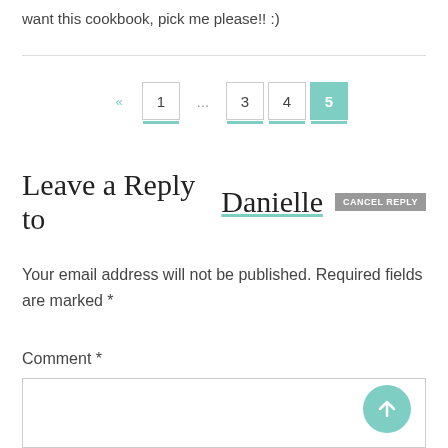want this cookbook, pick me please!! :)
Pagination: « 1 … 3 4 5
Leave a Reply to Danielle  CANCEL REPLY
Your email address will not be published. Required fields are marked *
Comment *